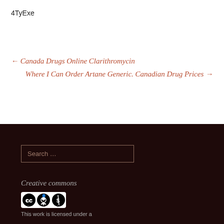4TyExe
← Canada Drugs Online Clarithromycin
Where I Can Order Artane Generic. Canadian Drug Prices →
Search …
Creative commons
[Figure (logo): Creative Commons BY NC SA license badge]
This work is licensed under a